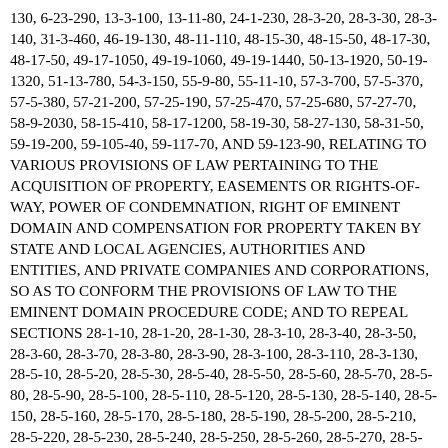130, 6-23-290, 13-3-100, 13-11-80, 24-1-230, 28-3-20, 28-3-30, 28-3-140, 31-3-460, 46-19-130, 48-11-110, 48-15-30, 48-15-50, 48-17-30, 48-17-50, 49-17-1050, 49-19-1060, 49-19-1440, 50-13-1920, 50-19-1320, 51-13-780, 54-3-150, 55-9-80, 55-11-10, 57-3-700, 57-5-370, 57-5-380, 57-21-200, 57-25-190, 57-25-470, 57-25-680, 57-27-70, 58-9-2030, 58-15-410, 58-17-1200, 58-19-30, 58-27-130, 58-31-50, 59-19-200, 59-105-40, 59-117-70, AND 59-123-90, RELATING TO VARIOUS PROVISIONS OF LAW PERTAINING TO THE ACQUISITION OF PROPERTY, EASEMENTS OR RIGHTS-OF-WAY, POWER OF CONDEMNATION, RIGHT OF EMINENT DOMAIN AND COMPENSATION FOR PROPERTY TAKEN BY STATE AND LOCAL AGENCIES, AUTHORITIES AND ENTITIES, AND PRIVATE COMPANIES AND CORPORATIONS, SO AS TO CONFORM THE PROVISIONS OF LAW TO THE EMINENT DOMAIN PROCEDURE CODE; AND TO REPEAL SECTIONS 28-1-10, 28-1-20, 28-1-30, 28-3-10, 28-3-40, 28-3-50, 28-3-60, 28-3-70, 28-3-80, 28-3-90, 28-3-100, 28-3-110, 28-3-130, 28-5-10, 28-5-20, 28-5-30, 28-5-40, 28-5-50, 28-5-60, 28-5-70, 28-5-80, 28-5-90, 28-5-100, 28-5-110, 28-5-120, 28-5-130, 28-5-140, 28-5-150, 28-5-160, 28-5-170, 28-5-180, 28-5-190, 28-5-200, 28-5-210, 28-5-220, 28-5-230, 28-5-240, 28-5-250, 28-5-260, 28-5-270, 28-5-280, 28-5-290, 28-5-300, 28-5-310, 28-5-320, 28-5-330, 28-5-340, 28-5-350, 28-5-360, 28-5-370, 28-5-380, 28-5-390, 28-7-10, 28-7-20, 28-7-30, 28-7-40, 28-9-10, 28-9-20, 28-9-30, 28-9-40, 28-